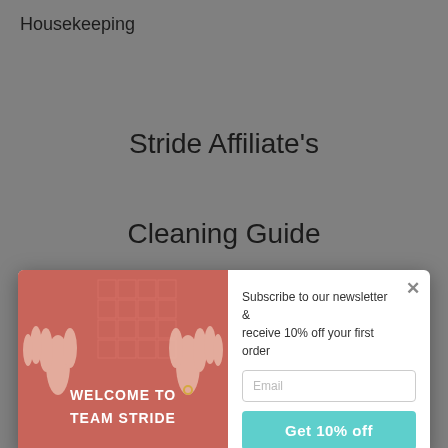Housekeeping
Stride Affiliate's
Cleaning Guide
[Figure (screenshot): Newsletter subscription popup modal. Left panel shows salmon/pink background with decorative geometric pattern and two hands with white bold text 'WELCOME TO TEAM STRIDE'. Right panel shows subscription form with text 'Subscribe to our newsletter & receive 10% off your first order', an email input field, and a teal 'Get 10% off' button. An X close button is in the top right.]
Refund policy
Delivery Policy
Terms of Service